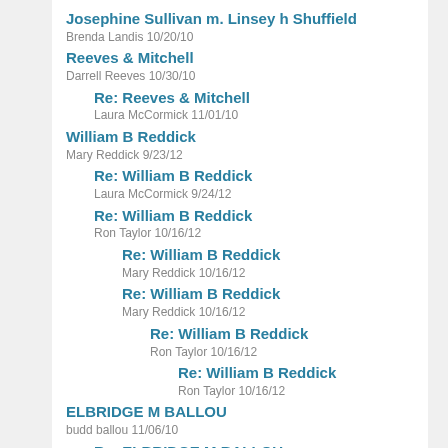Josephine Sullivan m. Linsey h Shuffield
Brenda Landis 10/20/10
Reeves & Mitchell
Darrell Reeves 10/30/10
Re: Reeves & Mitchell
Laura McCormick 11/01/10
William B Reddick
Mary Reddick 9/23/12
Re: William B Reddick
Laura McCormick 9/24/12
Re: William B Reddick
Ron Taylor 10/16/12
Re: William B Reddick
Mary Reddick 10/16/12
Re: William B Reddick
Mary Reddick 10/16/12
Re: William B Reddick
Ron Taylor 10/16/12
Re: William B Reddick
Ron Taylor 10/16/12
ELBRIDGE M BALLOU
budd ballou 11/06/10
Re: ELBRIDGE M BALLOU